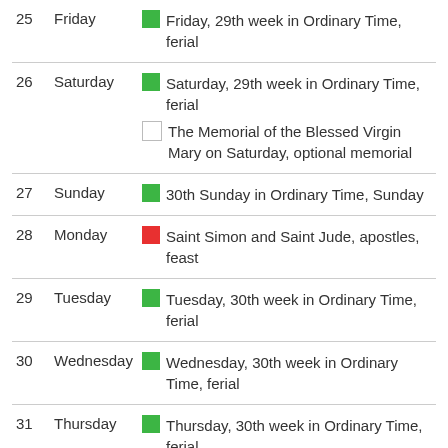| # | Day | Description |
| --- | --- | --- |
| 25 | Friday | Friday, 29th week in Ordinary Time, ferial |
| 26 | Saturday | Saturday, 29th week in Ordinary Time, ferial
The Memorial of the Blessed Virgin Mary on Saturday, optional memorial |
| 27 | Sunday | 30th Sunday in Ordinary Time, Sunday |
| 28 | Monday | Saint Simon and Saint Jude, apostles, feast |
| 29 | Tuesday | Tuesday, 30th week in Ordinary Time, ferial |
| 30 | Wednesday | Wednesday, 30th week in Ordinary Time, ferial |
| 31 | Thursday | Thursday, 30th week in Ordinary Time, ferial |